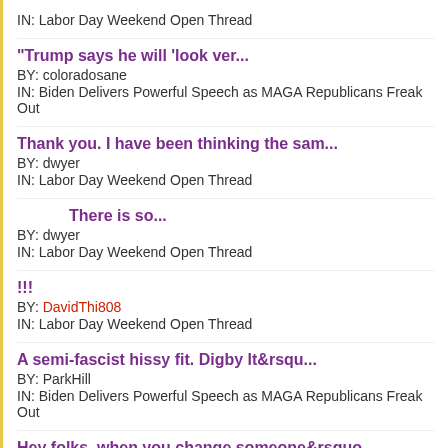IN: Labor Day Weekend Open Thread
"Trump says he will ‘look ver...
BY: coloradosane
IN: Biden Delivers Powerful Speech as MAGA Republicans Freak Out
Thank you.  I have been thinking the sam...
BY: dwyer
IN: Labor Day Weekend Open Thread
There is so...
BY: dwyer
IN: Labor Day Weekend Open Thread
!!!
BY: DavidThi808
IN: Labor Day Weekend Open Thread
A semi-fascist hissy fit. Digby lt&rsqu...
BY: ParkHill
IN: Biden Delivers Powerful Speech as MAGA Republicans Freak Out
Hey folks, when you change someone&rsquo...
BY: st0ry
IN: Biden Delivers Powerful Speech as MAGA Republicans Freak Out